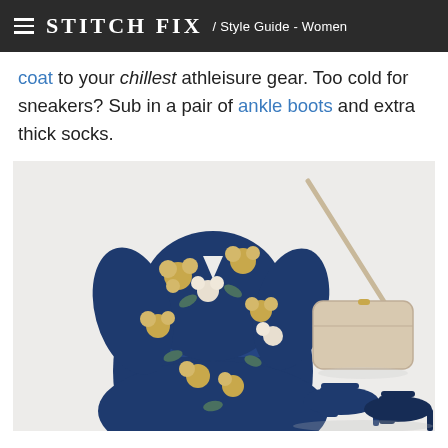STITCH FIX / Style Guide - Women
coat to your chillest athleisure gear. Too cold for sneakers? Sub in a pair of ankle boots and extra thick socks.
[Figure (photo): Flat lay photo of a navy blue floral wrap dress with yellow and white flowers, a cream crossbody bag with a long strap, and a pair of navy blue heeled sandals arranged on a white background.]